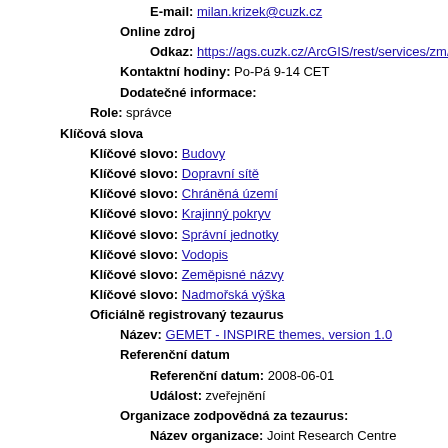E-mail: milan.krizek@cuzk.cz
Online zdroj
Odkaz: https://ags.cuzk.cz/ArcGIS/rest/services/zm/MapServe
Kontaktní hodiny: Po-Pá 9-14 CET
Dodatečné informace:
Role: správce
Klíčová slova
Klíčové slovo: Budovy
Klíčové slovo: Dopravní sítě
Klíčové slovo: Chráněná území
Klíčové slovo: Krajinný pokryv
Klíčové slovo: Správní jednotky
Klíčové slovo: Vodopis
Klíčové slovo: Zeměpisné názvy
Klíčové slovo: Nadmořská výška
Oficiálně registrovaný tezaurus
Název: GEMET - INSPIRE themes, version 1.0
Referenční datum
Referenční datum: 2008-06-01
Událost: zveřejnění
Organizace zodpovědná za tezaurus:
Název organizace: Joint Research Centre
Role: kontaktní bod
Klíčová slova
Klíčové slovo: administrativní hranice
Klíčové slovo: ...